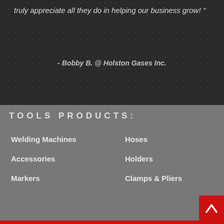truly appreciate all they do in helping our business grow! "
- Bobby B. @ Holston Gases Inc.
TOOLS PRODUCTS:
Welding Machines
Hoses
Accessories
Holders
Markers
Clamps & Pliers